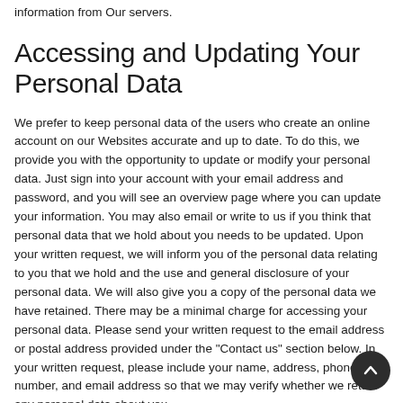information from Our servers.
Accessing and Updating Your Personal Data
We prefer to keep personal data of the users who create an online account on our Websites accurate and up to date. To do this, we provide you with the opportunity to update or modify your personal data. Just sign into your account with your email address and password, and you will see an overview page where you can update your information. You may also email or write to us if you think that personal data that we hold about you needs to be updated. Upon your written request, we will inform you of the personal data relating to you that we hold and the use and general disclosure of your personal data. We will also give you a copy of the personal data we have retained. There may be a minimal charge for accessing your personal data. Please send your written request to the email address or postal address provided under the "Contact us" section below. In your written request, please include your name, address, phone number, and email address so that we may verify whether we retain any personal data about you.
Ch...